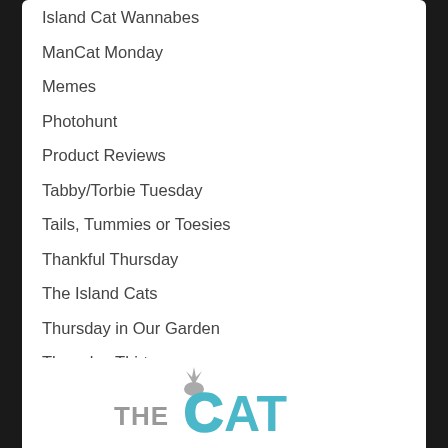Island Cat Wannabes
ManCat Monday
Memes
Photohunt
Product Reviews
Tabby/Torbie Tuesday
Tails, Tummies or Toesies
Thankful Thursday
The Island Cats
Thursday in Our Garden
Thursday Thirteen
Two on Tuesday
Uncategorized
Videos
What's That Wally Doing?
[Figure (logo): THE CAT logo in teal/grey colors with a cat silhouette above the C]